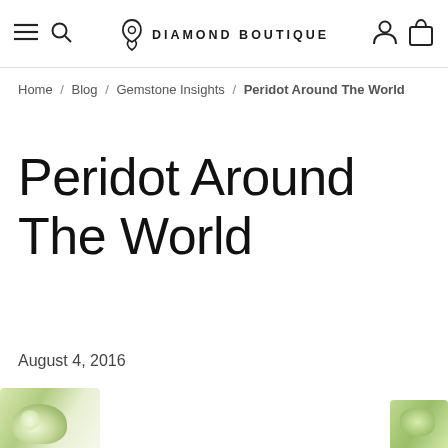Diamond Boutique
Home / Blog / Gemstone Insights / Peridot Around The World
Peridot Around The World
August 4, 2016
[Figure (photo): Partial view of flower or gemstone imagery at bottom left and bottom right of page]